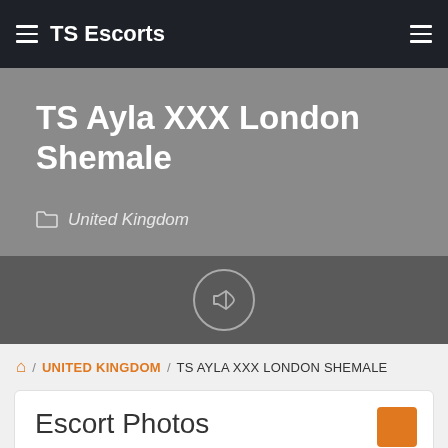TS Escorts
TS Ayla XXX London Shemale
United Kingdom
[Figure (illustration): Megaphone / announcement icon inside a circle on a dark grey background]
/ UNITED KINGDOM / TS AYLA XXX LONDON SHEMALE
Escort Photos